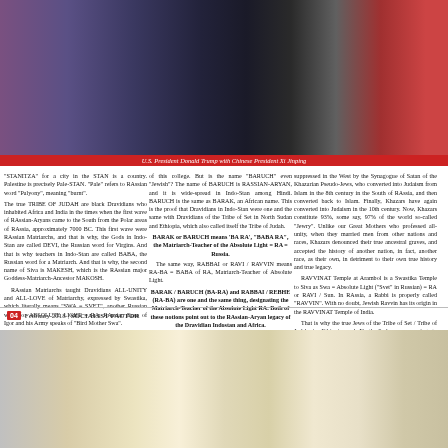[Figure (photo): Group photo of people in formal attire including what appears to be officials in suits, with colorful clothing visible]
U.S. President Donald Trump with Chinese President Xi Jinping
"STANITZA" for a city in the STAN is a country. Palestine is precisely Pale-STAN. "Pale" refers to RAssian word "Palyony", meaning "burnt".
The true TRIBE OF JUDAH are black Dravidians who inhabited Africa and India in the times when the first wave of RAssian-Aryans came to the South from the Polar areas of RAssia, approximately 7000 BC. This first wave were RAssian Matriarchs, and that is why, the Gods in Indo-Stan are called DEVI, the Russian word for Virgins. And that is why teachers in Indo-Stan are called BABA, the Russian word for a Matriarch. And that is why, the second name of Siva is MAKESH, which is the RAssian major Goddess-Matriarch-Ancestor MAKOSH.
RAssian Matriarchs taught Dravidians ALL-UNITY and ALL-LOVE of Matriarchy, expressed by Swastika, which literally means "SWA = SVET", another Russian word for ABSOLUTE LIGHT = RA. RAssian Epos of Igor and his Army speaks of "Bird Mother Swa".
There is a well-known Jewish family Baruch, and Baruch College in New York, named after this family, as patrons of this college. But is the name "BARUCH" even "Jewish"? The name of BARUCH is RASSIAN-ARYAN, and it is wide-spread in Indo-Stan among Hindi. BARUCH is the same as BARAK, an African name. This is the proof that Dravidians in Indo-Stan were one and the same with Dravidians of the Tribe of Set in North Sudan and Ethiopia, which also called itself the Tribe of Judah.
BARAK or BARUCH means 'BA RA', 'BABA RA', the Matriarch-Teacher of the Absolute Light = RA = Russia.
The same way, RABBAI or RAVI / RAVVIN means RA-BA = BABA of RA, Matriarch-Teacher of Absolute Light.
BARAK / BARUCH (BA-RA) and RABBAI / REBHE (RA-BA) are one and the same thing, designating the Matriarch-Teacher of the Absolute Light RA. Both of these notions point out to the RAssian-Aryan legacy of the Dravidian Indostan and Africa.
I am a member of the RAVVINAT Temple in Arambol, North Goa. You will not find on Google any information about RAVVINAT Temples in India. It is totally suppressed in the West by the Synagogue of Satan of the Khazarian Pseudo-Jews, who converted into Judaism from Islam in the 8th century in the South of RAssia, and then converted back to Islam. Finally, Khazars have again converted into Judaism in the 10th century. Now, Khazars constitute 93%, some say, 97% of the world so-called "Jewry". Unlike our Great Mothers who professed all-unity, when they married men from other nations and races, Khazars denounced their true ancestral graves, and accepted the history of another nation, in fact, another race, as their own, in detriment to their own true history and true legacy.
RAVVINAT Temple at Arambol is a Swastika Temple to Siva as Swa = Absolute Light ("Svet" in Russian) = RA or RAVI / Sun. In RAssia, a Rabbi is properly called "RAVVIN". With no doubt, Jewish Ravvin has its origin in the RAVVINAT Temple of India.
That is why the true Jews of the Tribe of Set / Tribe of Judah in Ethiopia and North Sudan are praying to Swastikas, which designate RA / SUN / SWA ("Svet" = Light), and which is a Solar Cross. And that is why Mr. Barak Obama, the one and only heir of the one and only
04  February 2018 | SOCIALIST FACTOR
[Figure (photo): Photo of people in formal attire at what appears to be an official meeting, with flags visible in the background]